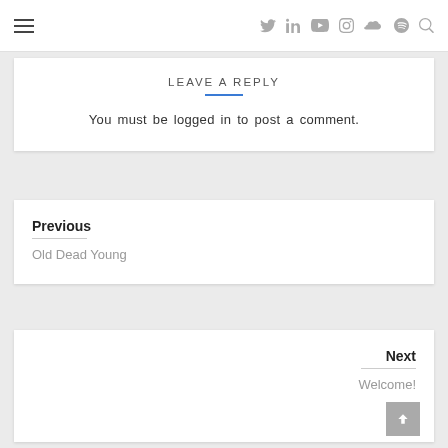Navigation bar with hamburger menu and social icons
LEAVE A REPLY
You must be logged in to post a comment.
Previous
Old Dead Young
Next
Welcome!